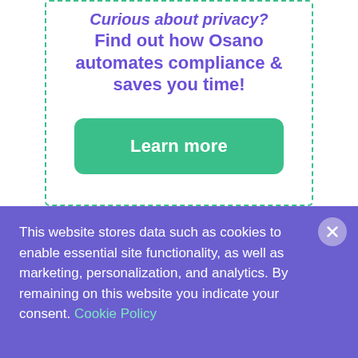Curious about privacy? Find out how Osano automates compliance & saves you time!
[Figure (other): Green 'Learn more' call-to-action button inside a dashed teal border box]
With a nod to the artistry of Marvin Gaye, what would it mean for each of us to cultivate this type of vigilance and integrity in our own lives, and seek out
This website stores data such as cookies to enable essential site functionality, as well as marketing, personalization, and analytics. By remaining on this website you indicate your consent. Cookie Policy